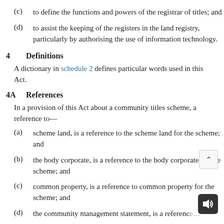(c) to define the functions and powers of the registrar of titles; and
(d) to assist the keeping of the registers in the land registry, particularly by authorising the use of information technology.
4 Definitions
A dictionary in schedule 2 defines particular words used in this Act.
4A References
In a provision of this Act about a community titles scheme, a reference to—
(a) scheme land, is a reference to the scheme land for the scheme; and
(b) the body corporate, is a reference to the body corporate for the scheme; and
(c) common property, is a reference to common property for the scheme; and
(d) the community management statement, is a reference…